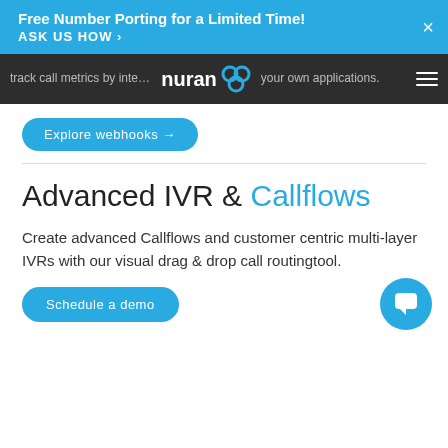Free Number Porting for a Limited Time! ASK US HOW ›
track call metrics by integrating with third parties using your own applications.
Explore webhooks →
Advanced IVR & Callflows
Create advanced Callflows and customer centric multi-layer IVRs with our visual drag & drop call routing tool.
Schedule a demo